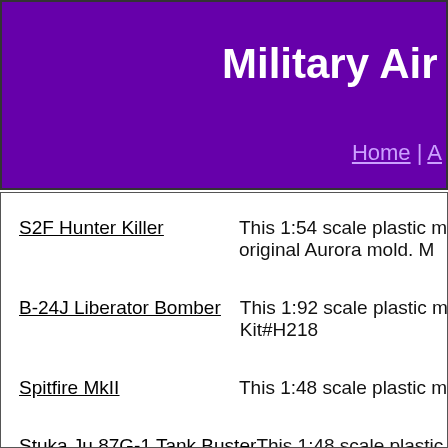Military Air
Home | A
S2F Hunter Killer — This 1:54 scale plastic m original Aurora mold. M
B-24J Liberator Bomber — This 1:92 scale plastic m Kit#H218
Spitfire MkII — This 1:48 scale plastic m
Stuka Ju 87G-1 Tank Buster — This 1:48 scale plastic m
B-51D M... — This 1:48 scale plastic...